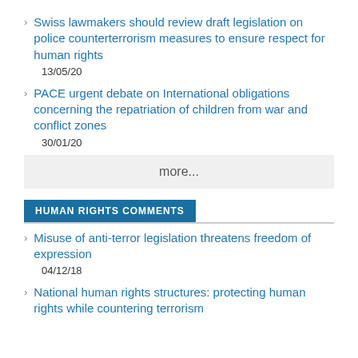Swiss lawmakers should review draft legislation on police counterterrorism measures to ensure respect for human rights
13/05/20
PACE urgent debate on International obligations concerning the repatriation of children from war and conflict zones
30/01/20
more...
HUMAN RIGHTS COMMENTS
Misuse of anti-terror legislation threatens freedom of expression
04/12/18
National human rights structures: protecting human rights while countering terrorism